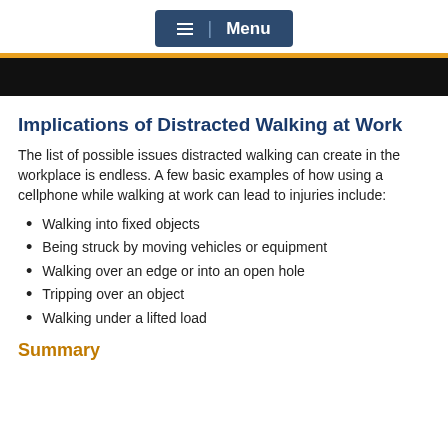Menu
Implications of Distracted Walking at Work
The list of possible issues distracted walking can create in the workplace is endless. A few basic examples of how using a cellphone while walking at work can lead to injuries include:
Walking into fixed objects
Being struck by moving vehicles or equipment
Walking over an edge or into an open hole
Tripping over an object
Walking under a lifted load
Summary